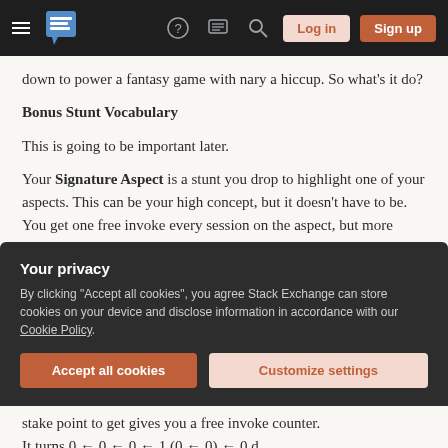Stack Exchange navigation bar with hamburger, logo, question, chat, search icons, Log in and Sign up buttons
down to power a fantasy game with nary a hiccup. So what's it do?
Bonus Stunt Vocabulary
This is going to be important later.
Your Signature Aspect is a stunt you drop to highlight one of your aspects. This can be your high concept, but it doesn't have to be. You get one free invoke every session on the aspect, but more importantly, when the GM
Your privacy
By clicking "Accept all cookies", you agree Stack Exchange can store cookies on your device and disclose information in accordance with our Cookie Policy.
Accept all cookies   Customize settings
stake point to get gives you a free invoke counter. It turns 0 ← 0 ← 0 ← 1 (0 ← 0) ← 0 d